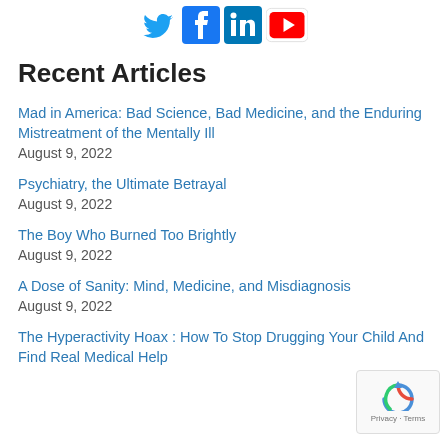[Figure (other): Social media icons: Twitter (blue bird), Facebook (blue f), LinkedIn (blue in), YouTube (red play button)]
Recent Articles
Mad in America: Bad Science, Bad Medicine, and the Enduring Mistreatment of the Mentally Ill
August 9, 2022
Psychiatry, the Ultimate Betrayal
August 9, 2022
The Boy Who Burned Too Brightly
August 9, 2022
A Dose of Sanity: Mind, Medicine, and Misdiagnosis
August 9, 2022
The Hyperactivity Hoax : How To Stop Drugging Your Child And Find Real Medical Help